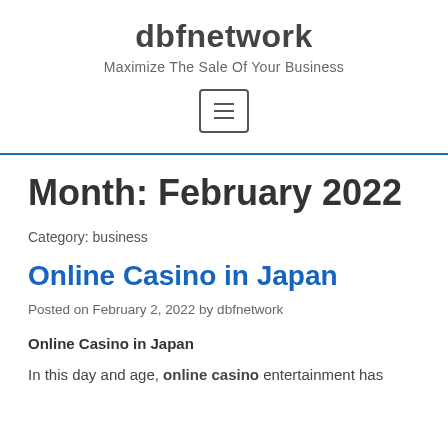dbfnetwork
Maximize The Sale Of Your Business
Month: February 2022
Category: business
Online Casino in Japan
Posted on February 2, 2022 by dbfnetwork
Online Casino in Japan
In this day and age, online casino entertainment has